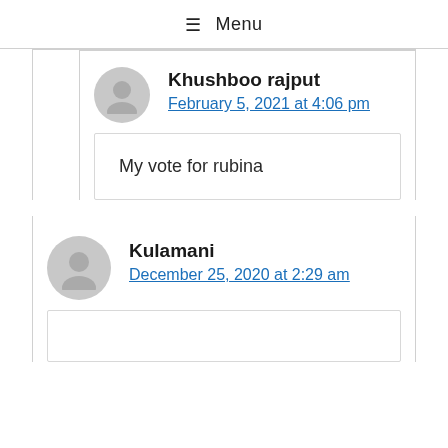≡ Menu
Khushboo rajput
February 5, 2021 at 4:06 pm
My vote for rubina
Kulamani
December 25, 2020 at 2:29 am